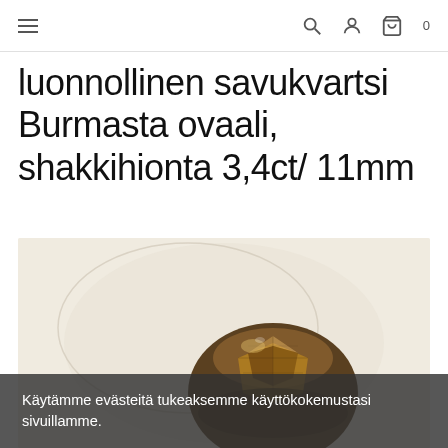≡   🔍  👤  🛒 0
luonnollinen savukvartsi Burmasta ovaali, shakkihionta 3,4ct/ 11mm
[Figure (photo): Close-up photograph of a faceted oval smoky quartz gemstone with chess/checker cut facets, showing dark brown translucent stone against a pale cream/beige background]
Käytämme evästeitä tukeaksemme käyttökokemustasi sivuillamme.